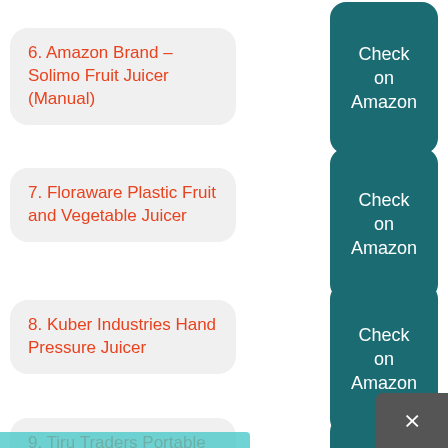6. Amazon Brand – Solimo Fruit Juicer (Manual)
7. Floraware Plastic Fruit and Vegetable Juicer
8. Kuber Industries Hand Pressure Juicer
9. Tiru Traders Portable USB Electric Juicer